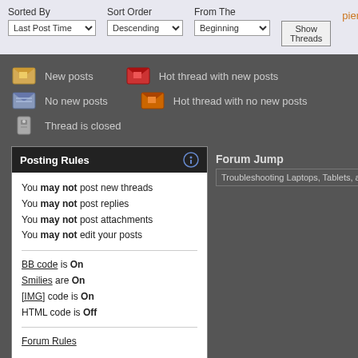Sorted By: Last Post Time | Sort Order: Descending | From The: Beginning | Show Threads | piernov
New posts
Hot thread with new posts
No new posts
Hot thread with no new posts
Thread is closed
Posting Rules
You may not post new threads
You may not post replies
You may not post attachments
You may not edit your posts
BB code is On
Smilies are On
[IMG] code is On
HTML code is Off
Forum Rules
Forum Jump
Troubleshooting Laptops, Tablets, and Mob
Badcaps.net Home - Capacitor Kits - Repair Services - - Top
Badcaps.net Technical Forums © 2003 - 2022
Powered by vBulletin ®
Copyright ©2000 - 2022, Jelsoft Enterprises Ltd.
All times are GMT -6. The time now is 06:57 PM.